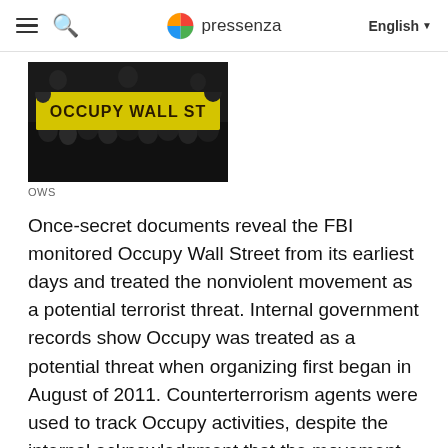pressenza  English
[Figure (photo): Crowd of protesters holding a large yellow banner reading 'OCCUPY WALL ST']
OWS
Once-secret documents reveal the FBI monitored Occupy Wall Street from its earliest days and treated the nonviolent movement as a potential terrorist threat. Internal government records show Occupy was treated as a potential threat when organizing first began in August of 2011. Counterterrorism agents were used to track Occupy activities, despite the internal acknowledgment that the movement opposed violent tactics. The monitoring expanded across the country as Occupy grew into a national movement, with FBI agents sharing information with businesses, local police agencies and universities